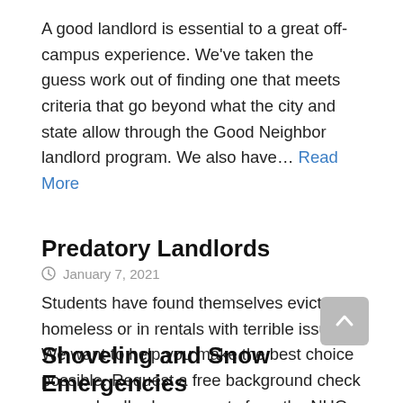A good landlord is essential to a great off-campus experience. We've taken the guess work out of finding one that meets criteria that go beyond what the city and state allow through the Good Neighbor landlord program. We also have… Read More
Predatory Landlords
January 7, 2021
Students have found themselves evicted, homeless or in rentals with terrible issues. We want to help you make the best choice possible. Request a free background check on any landlord or property from the NHO by emailing us the name… Read More
Shoveling and Snow Emergencies